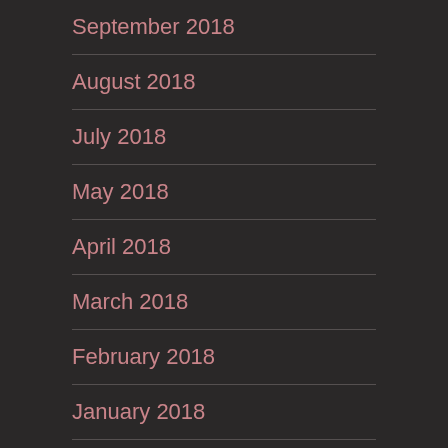September 2018
August 2018
July 2018
May 2018
April 2018
March 2018
February 2018
January 2018